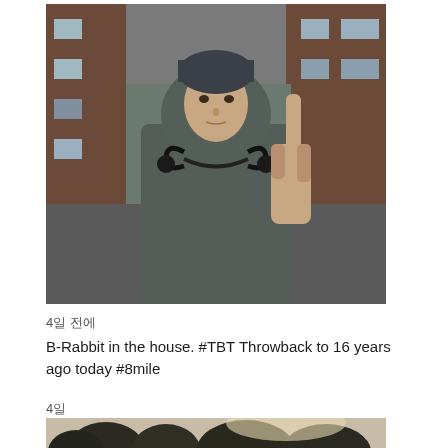[Figure (photo): Young man wearing a gray hoodie and dark beanie hat, with headphones around his neck, making a hand gesture with one finger raised, standing in front of a brick building. Movie still from 8 Mile.]
4일 전에
B-Rabbit in the house.  #TBT Throwback to 16 years ago today #8mile
4일
[Figure (photo): Partially visible outdoor photo showing trees against a light sky, appears to be sepia or vintage toned.]